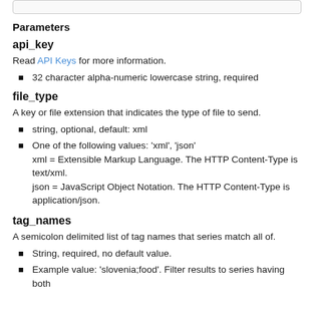Parameters
api_key
Read API Keys for more information.
32 character alpha-numeric lowercase string, required
file_type
A key or file extension that indicates the type of file to send.
string, optional, default: xml
One of the following values: 'xml', 'json'
xml = Extensible Markup Language. The HTTP Content-Type is text/xml.
json = JavaScript Object Notation. The HTTP Content-Type is application/json.
tag_names
A semicolon delimited list of tag names that series match all of.
String, required, no default value.
Example value: 'slovenia;food'. Filter results to series having both